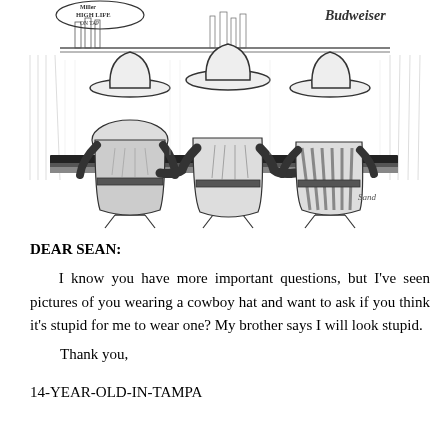[Figure (illustration): Pen-and-ink cartoon illustration of three cowboys (wearing cowboy hats) seen from behind, sitting on bar stools at a bar counter. Beer signs visible including 'Miller High Life on Tap' and 'Budweiser' in the background. Artist signature 'Sand' visible at lower right of illustration.]
DEAR SEAN:
    I know you have more important questions, but I've seen pictures of you wearing a cowboy hat and want to ask if you think it's stupid for me to wear one? My brother says I will look stupid.
    Thank you,
14-YEAR-OLD-IN-TAMPA